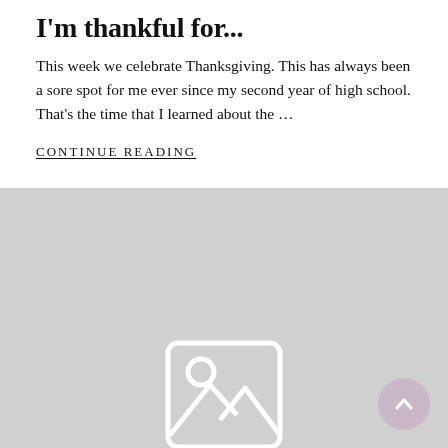I'm thankful for...
This week we celebrate Thanksgiving. This has always been a sore spot for me ever since my second year of high school. That's the time that I learned about the …
CONTINUE READING
[Figure (illustration): Gray placeholder image area with a generic image placeholder icon (rounded square with mountain and circle/sun icon) centered in the lower half of the page. A circular back-to-top button with an upward chevron arrow is shown in the bottom right corner.]